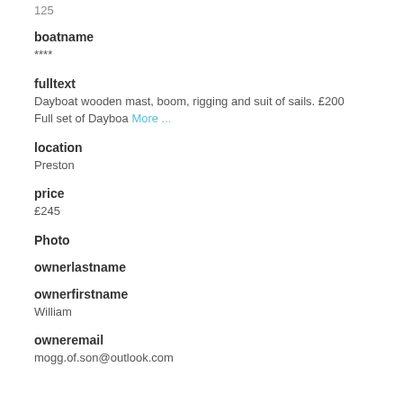125
boatname
****
fulltext
Dayboat wooden mast, boom, rigging and suit of sails. £200 Full set of Dayboa More ...
location
Preston
price
£245
Photo
ownerlastname
ownerfirstname
William
owneremail
mogg.of.son@outlook.com